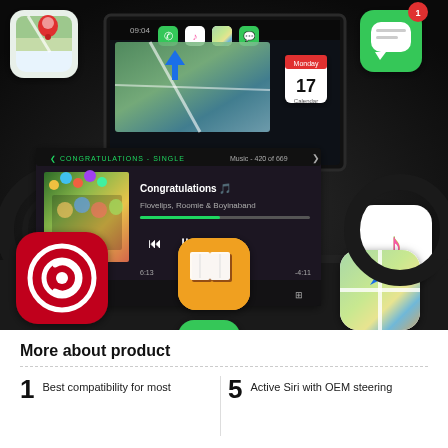[Figure (photo): Car interior dashboard with CarPlay interface showing floating app icons including Google Maps, Messages, Music, NetEase Music, Books, Phone, and Apple Maps. A music player card shows 'Congratulations' playing, and a navigation screen overlay is visible on the car's infotainment display.]
More about product
1  Best compatibility for most
5  Active Siri with OEM steering